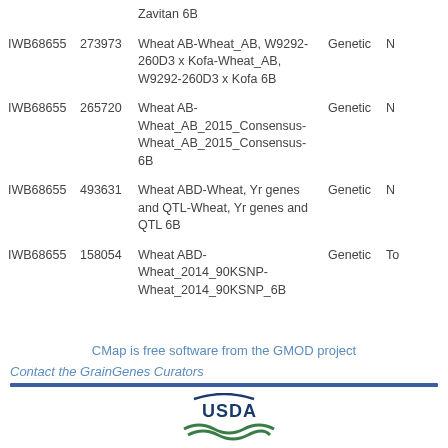| Marker | ID | Map | Type | Extra |
| --- | --- | --- | --- | --- |
|  |  | Zavitan 6B |  |  |
| IWB68655 | 273973 | Wheat AB-Wheat_AB, W9292-260D3 x Kofa-Wheat_AB, W9292-260D3 x Kofa 6B | Genetic | N |
| IWB68655 | 265720 | Wheat AB-Wheat_AB_2015_Consensus-Wheat_AB_2015_Consensus-6B | Genetic | N |
| IWB68655 | 493631 | Wheat ABD-Wheat, Yr genes and QTL-Wheat, Yr genes and QTL 6B | Genetic | N |
| IWB68655 | 158054 | Wheat ABD-Wheat_2014_90KSNP-Wheat_2014_90KSNP_6B | Genetic | To |
CMap is free software from the GMOD project
Contact the GrainGenes Curators
[Figure (logo): USDA logo with green and blue graphic]